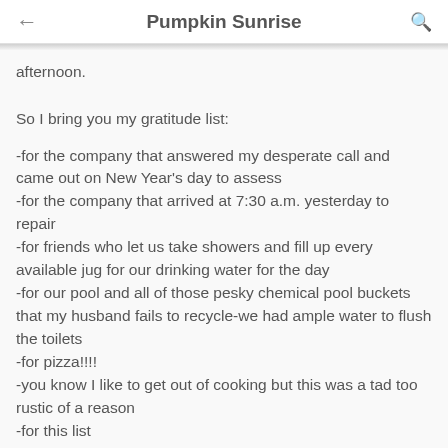Pumpkin Sunrise
afternoon.
So I bring you my gratitude list:
-for the company that answered my desperate call and came out on New Year's day to assess
-for the company that arrived at 7:30 a.m. yesterday to repair
-for friends who let us take showers and fill up every available jug for our drinking water for the day
-for our pool and all of those pesky chemical pool buckets that my husband fails to recycle-we had ample water to flush the toilets
-for pizza!!!!
-you know I like to get out of cooking but this was a tad too rustic of a reason
-for this list